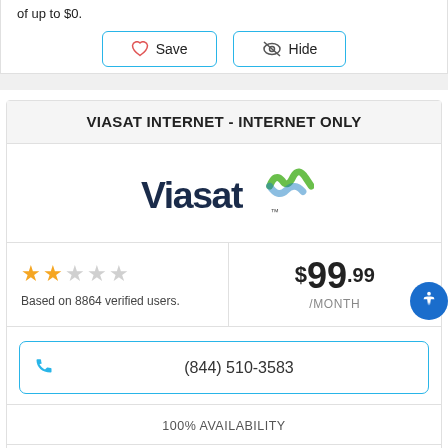of up to $0.
Save  Hide
VIASAT INTERNET - INTERNET ONLY
[Figure (logo): Viasat logo with blue text and green wave graphic]
Based on 8864 verified users.
$99.99 /MONTH
(844) 510-3583
100% AVAILABILITY